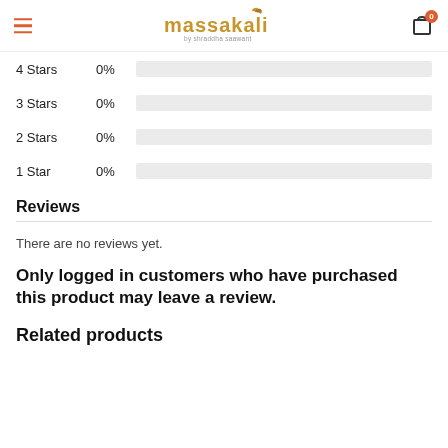massakali by shraddha saawant
| Rating | Percentage |
| --- | --- |
| 4 Stars | 0% |
| 3 Stars | 0% |
| 2 Stars | 0% |
| 1 Star | 0% |
Reviews
There are no reviews yet.
Only logged in customers who have purchased this product may leave a review.
Related products